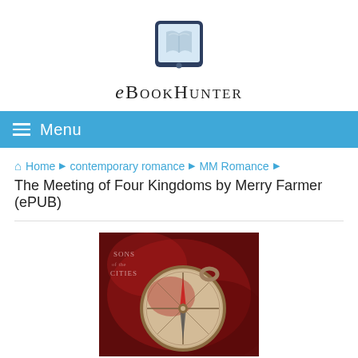[Figure (logo): eBookHunter logo: tablet/e-reader device icon with open book graphic]
eBOOKHUNTER
≡ Menu
Home › contemporary romance › MM Romance › The Meeting of Four Kingdoms by Merry Farmer (ePUB)
[Figure (photo): Book cover image for 'Sons of the Cities' series showing a vintage compass against a dark red background]